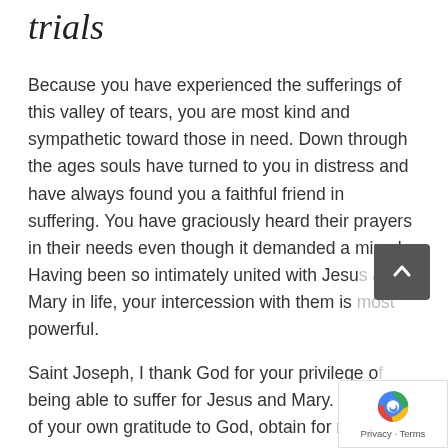trials
Because you have experienced the sufferings of this valley of tears, you are most kind and sympathetic toward those in need. Down through the ages souls have turned to you in distress and have always found you a faithful friend in suffering. You have graciously heard their prayers in their needs even though it demanded a miracle. Having been so intimately united with Jesus and Mary in life, your intercession with them is most powerful.
Saint Joseph, I thank God for your privilege of being able to suffer for Jesus and Mary. As a of your own gratitude to God, obtain for me the